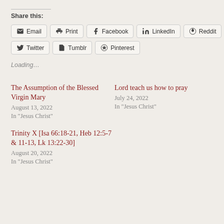Share this:
Email
Print
Facebook
LinkedIn
Reddit
Twitter
Tumblr
Pinterest
Loading...
The Assumption of the Blessed Virgin Mary
August 13, 2022
In "Jesus Christ"
Lord teach us how to pray
July 24, 2022
In "Jesus Christ"
Trinity X [Isa 66:18-21, Heb 12:5-7 & 11-13, Lk 13:22-30]
August 20, 2022
In "Jesus Christ"